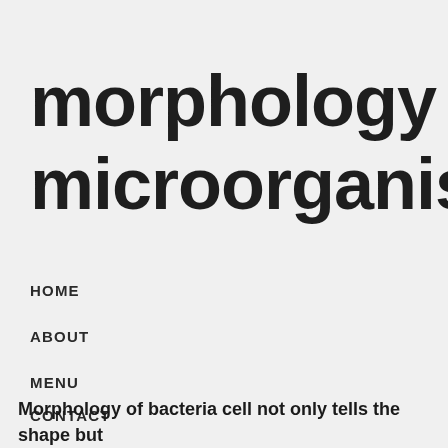morphology of microorganisms
HOME
ABOUT
MENU
CONTACT
Morphology of bacteria cell not only tells the shape but also…